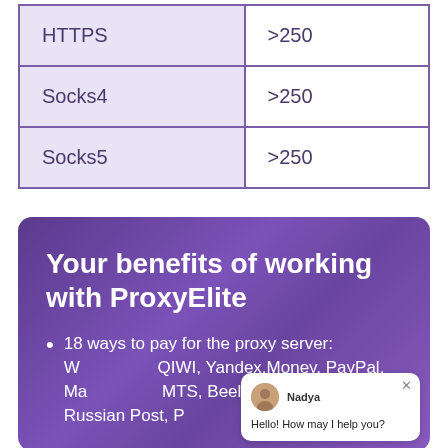| HTTPS | >250 |
| Socks4 | >250 |
| Socks5 | >250 |
Your benefits of working with ProxyElite
18 ways to pay for the proxy server: WebMoney, QIWI, Yandex.Money, PayPal, VISA, MasterCard, MTS, Beeline terminals, Russian Post, PayPal